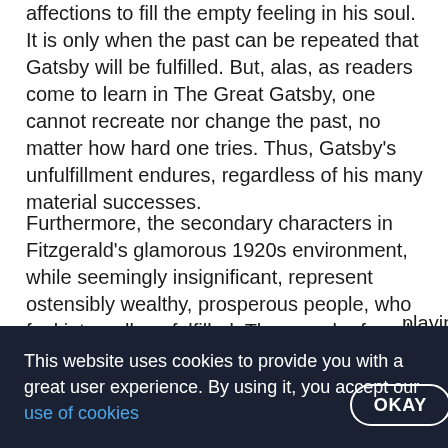affections to fill the empty feeling in his soul. It is only when the past can be repeated that Gatsby will be fulfilled. But, alas, as readers come to learn in The Great Gatsby, one cannot recreate nor change the past, no matter how hard one tries. Thus, Gatsby's unfulfillment endures, regardless of his many material successes.
Furthermore, the secondary characters in Fitzgerald's glamorous 1920s environment, while seemingly insignificant, represent ostensibly wealthy, prosperous people, who feel internally unfulfilled. They can be found at Gatsby's opulent parties, where people of grandeur and polish arrive and entertain one another. However, their celebration is merely a distraction from the emptiness within …playing the s —not freely, her heavily ...
(Fitzgerald 31).
This website uses cookies to provide you with a great user experience. By using it, you accept our use of cookies